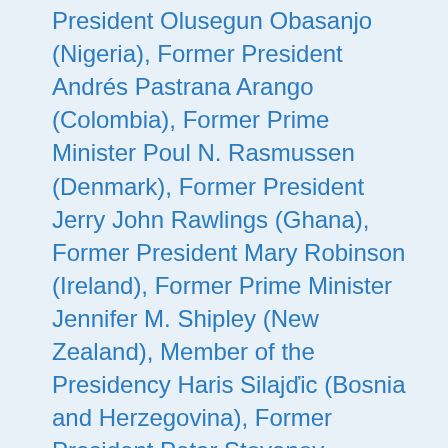President Olusegun Obasanjo (Nigeria), Former President Andrés Pastrana Arango (Colombia), Former Prime Minister Poul N. Rasmussen (Denmark), Former President Jerry John Rawlings (Ghana), Former President Mary Robinson (Ireland), Former Prime Minister Jennifer M. Shipley (New Zealand), Member of the Presidency Haris Silajdžić (Bosnia and Herzegovina), Former President Petar Stoyanov (Bulgaria), Former President Ernesto Zedillo (Mexico), Crown Prince Haakon (Norway), Crown Princess Mette-Marit (Norway), Duchess Cristina Federica de Borbón (Spain), Former Ambassador to the U.S. Prince Turki Al Faisal Al Saud (Saudi Arabia), Gerry Adams (President of Sinn Féin), Minister of Cabinet Affairs Mohammad Al Gergawi (United